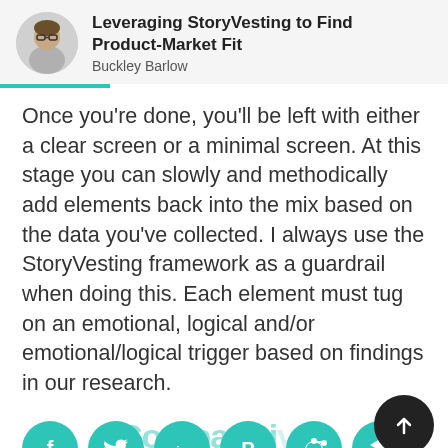Leveraging StoryVesting to Find Product-Market Fit — Buckley Barlow
Once you're done, you'll be left with either a clear screen or a minimal screen. At this stage you can slowly and methodically add elements back into the mix based on the data you've collected. I always use the StoryVesting framework as a guardrail when doing this. Each element must tug on an emotional, logical and/or emotional/logical trigger based on findings in our research.
[Figure (infographic): Social sharing buttons: Facebook, Twitter, LinkedIn, Pinterest (with count badge 598), Reddit, Buffer/Stack. An upload/arrow-up button on the right. Overlay text reads 'Comparative'.]
A third exercise is the Comparative